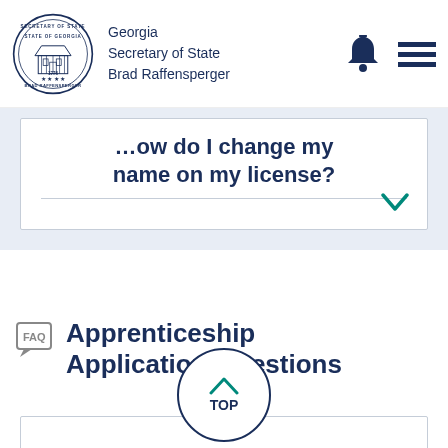Georgia Secretary of State Brad Raffensperger
...ow do I change my name on my license?
Apprenticeship Application Questions